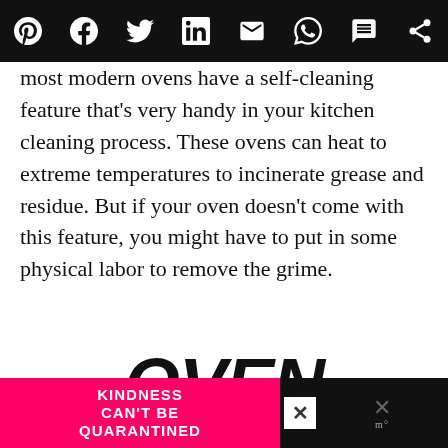Social share bar with icons: Pinterest, Facebook, Twitter, LinkedIn, Email, WhatsApp, SMS, other
most modern ovens have a self-cleaning feature that's very handy in your kitchen cleaning process. These ovens can heat to extreme temperatures to incinerate grease and residue. But if your oven doesn't come with this feature, you might have to put in some physical labor to remove the grime.
OVEN CLEANING HACKS
[Figure (other): Pink advertisement banner reading KINDNESS CAN'T BE QUARANTINED with close button and dark right panel]
KINDNESS CAN'T BE QUARANTINED